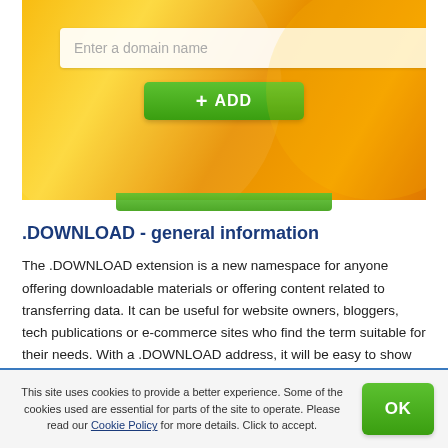[Figure (screenshot): Orange gradient banner with a domain name text input field and a green ADD button]
.DOWNLOAD - general information
The .DOWNLOAD extension is a new namespace for anyone offering downloadable materials or offering content related to transferring data. It can be useful for website owners, bloggers, tech publications or e-commerce sites who find the term suitable for their needs. With a .DOWNLOAD address, it will be easy to show Internet users what your website can offer, be it downloadable music, videos, e-books, photos, podcasts and more. .DOWNLOAD is good for companies as well as groups and individuals.
This site uses cookies to provide a better experience. Some of the cookies used are essential for parts of the site to operate. Please read our Cookie Policy for more details. Click to accept.